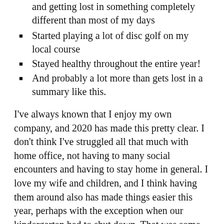and getting lost in something completely different than most of my days
Started playing a lot of disc golf on my local course
Stayed healthy throughout the entire year!
And probably a lot more than gets lost in a summary like this.
I've always known that I enjoy my own company, and 2020 has made this pretty clear. I don't think I've struggled all that much with home office, not having to many social encounters and having to stay home in general. I love my wife and children, and I think having them around also has made things easier this year, perhaps with the exception when our kindergarten had to shut down. That was some interesting weeks.
Still, I am able to find joy, energy and excitement about stuff while being alone. I guess I have been able to get to know my inner introvert a lot more, it is interesting to sit